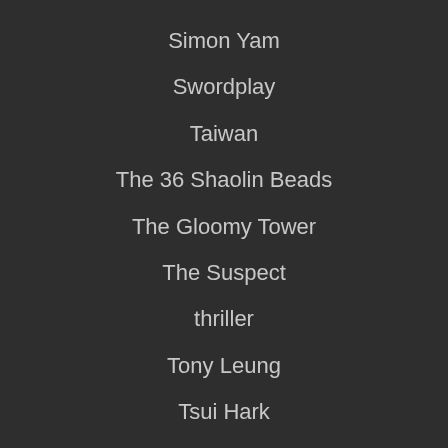Simon Yam
Swordplay
Taiwan
The 36 Shaolin Beads
The Gloomy Tower
The Suspect
thriller
Tony Leung
Tsui Hark
Vampire
Vampires